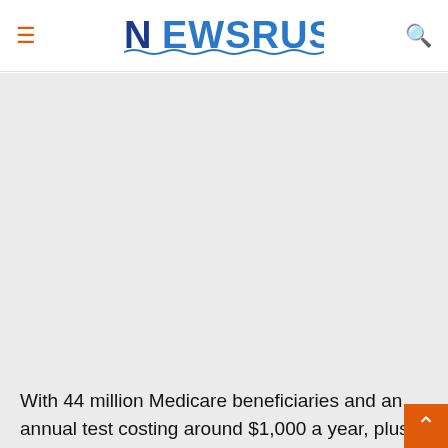NEWSRUST
[Figure (other): Gray advertisement/placeholder area below the header]
With 44 million Medicare beneficiaries and an annual test costing around $1,000 a year, plus expensive scans and biopsies for those who t...
A health system overwhelmed - POLITICO
Mormon church suspends all public services worldwide due to coronavirus